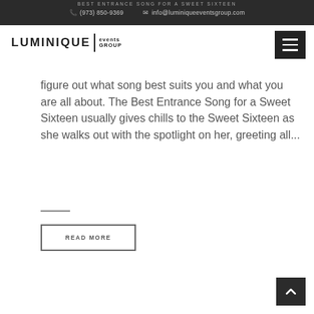BEST ENTRANCE SONG FOR A SWEET SIXTEEN
(973) 850-9369  info@luminiqueeventsgroup.com
[Figure (logo): Luminique Events Group logo with bold text and vertical divider]
figure out what song best suits you and what you are all about. The Best Entrance Song for a Sweet Sixteen usually gives chills to the Sweet Sixteen as she walks out with the spotlight on her, greeting all...
READ MORE